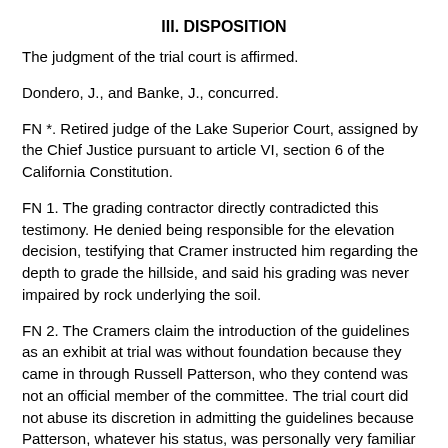III. DISPOSITION
The judgment of the trial court is affirmed.
Dondero, J., and Banke, J., concurred.
FN *. Retired judge of the Lake Superior Court, assigned by the Chief Justice pursuant to article VI, section 6 of the California Constitution.
FN 1. The grading contractor directly contradicted this testimony. He denied being responsible for the elevation decision, testifying that Cramer instructed him regarding the depth to grade the hillside, and said his grading was never impaired by rock underlying the soil.
FN 2. The Cramers claim the introduction of the guidelines as an exhibit at trial was without foundation because they came in through Russell Patterson, who they contend was not an official member of the committee. The trial court did not abuse its discretion in admitting the guidelines because Patterson, whatever his status, was personally very familiar with the activities of the committee.
FN 3. As authority, the Cramers rely largely on Sharon v. Sharon (1888) 75 Cal. 1, a decision reviewing a trial court's award of temporary alimony. We find the circumstances of Sharon sufficiently